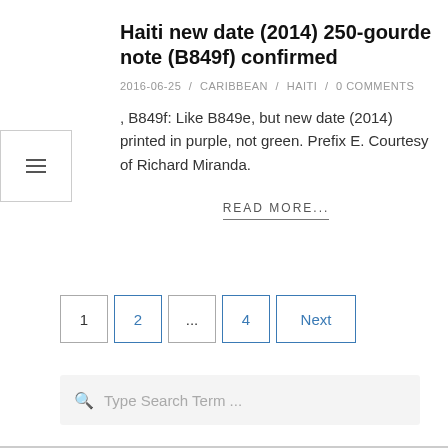Haiti new date (2014) 250-gourde note (B849f) confirmed
2016-06-25 / CARIBBEAN / HAITI / 0 COMMENTS
, B849f: Like B849e, but new date (2014) printed in purple, not green. Prefix E. Courtesy of Richard Miranda.
READ MORE...
1  2  ...  4  Next
Type Search Term ...